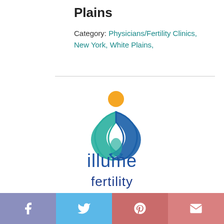Plains
Category: Physicians/Fertility Clinics, New York, White Plains,
[Figure (logo): Illume Fertility logo — stylized interlocking teal and blue leaf shapes with an orange circle above, with text 'illume fertility' below in dark blue]
Facebook, Twitter, Pinterest, Email share buttons